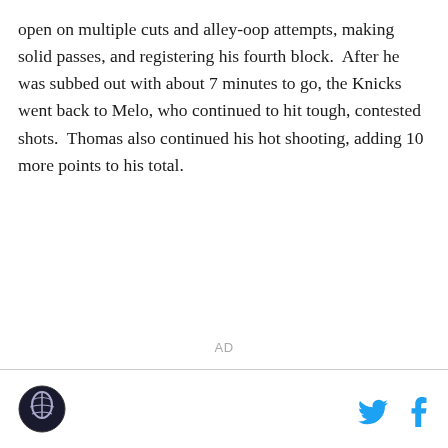open on multiple cuts and alley-oop attempts, making solid passes, and registering his fourth block.  After he was subbed out with about 7 minutes to go, the Knicks went back to Melo, who continued to hit tough, contested shots.  Thomas also continued his hot shooting, adding 10 more points to his total.
AD